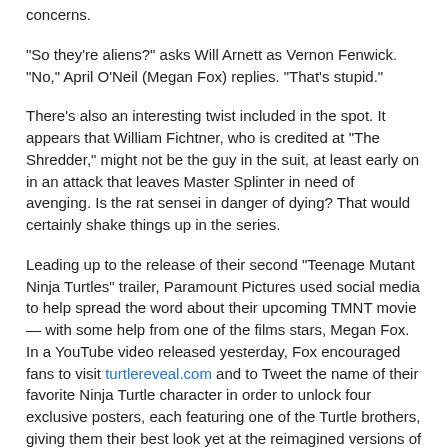concerns.
"So they're aliens?" asks Will Arnett as Vernon Fenwick. "No," April O'Neil (Megan Fox) replies. "That's stupid."
There's also an interesting twist included in the spot. It appears that William Fichtner, who is credited at "The Shredder," might not be the guy in the suit, at least early on in an attack that leaves Master Splinter in need of avenging. Is the rat sensei in danger of dying? That would certainly shake things up in the series.
Leading up to the release of their second "Teenage Mutant Ninja Turtles" trailer, Paramount Pictures used social media to help spread the word about their upcoming TMNT movie — with some help from one of the films stars, Megan Fox. In a YouTube video released yesterday, Fox encouraged fans to visit turtlereveal.com and to Tweet the name of their favorite Ninja Turtle character in order to unlock four exclusive posters, each featuring one of the Turtle brothers, giving them their best look yet at the reimagined versions of the Heroes in a Half Shell - Leonardo, Raphael, Donatello